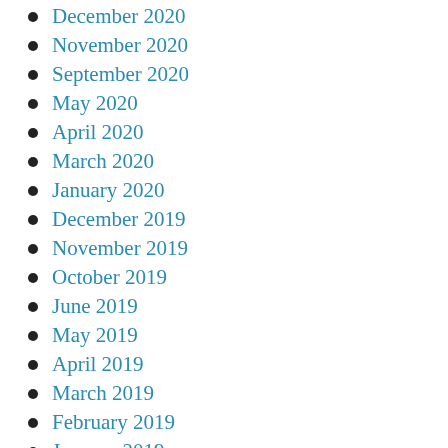December 2020
November 2020
September 2020
May 2020
April 2020
March 2020
January 2020
December 2019
November 2019
October 2019
June 2019
May 2019
April 2019
March 2019
February 2019
January 2019